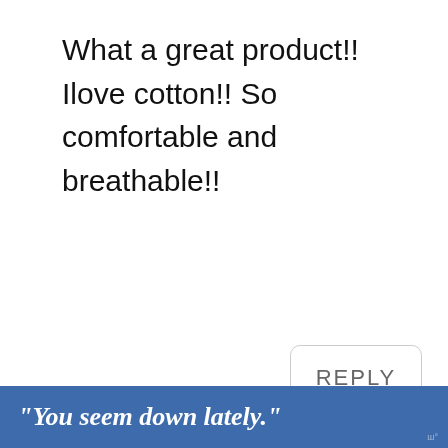What a great product!! Ilove cotton!! So comfortable and breathable!!
[Figure (screenshot): Reply button with rounded border]
Diane
October 16, 2014 at 11 pm
[Figure (screenshot): What's Next overlay: How To Make Homemade...]
"You seem down lately."